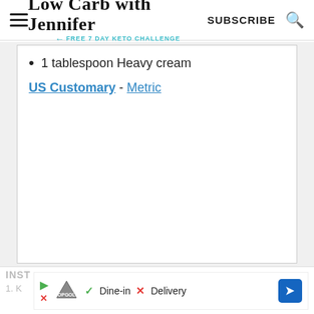Low Carb with Jennifer — FREE 7 DAY KETO CHALLENGE | SUBSCRIBE
1 tablespoon Heavy cream
US Customary - Metric
INST... | Ad: Dine-in | Delivery